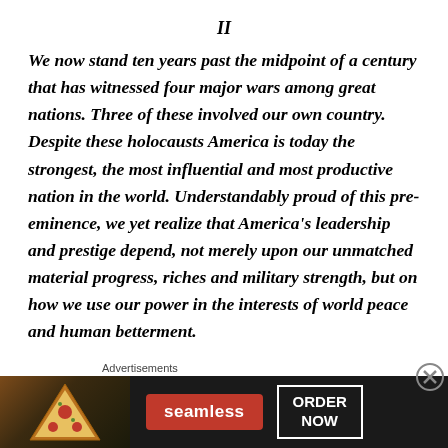II
We now stand ten years past the midpoint of a century that has witnessed four major wars among great nations. Three of these involved our own country. Despite these holocausts America is today the strongest, the most influential and most productive nation in the world. Understandably proud of this pre-eminence, we yet realize that America's leadership and prestige depend, not merely upon our unmatched material progress, riches and military strength, but on how we use our power in the interests of world peace and human betterment.
[Figure (other): Advertisement banner for Seamless food ordering service showing pizza image on left, Seamless logo in red button, and ORDER NOW button in white border on dark background. Labeled 'Advertisements' above.]